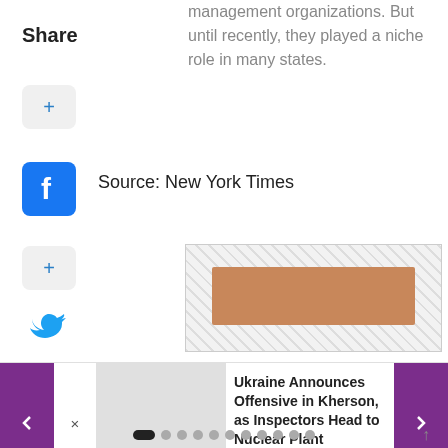management organizations. But until recently, they played a niche role in many states.
Share
[Figure (illustration): Plus button (share widget)]
[Figure (logo): Facebook share button icon]
Source: New York Times
[Figure (illustration): Plus button (share widget)]
[Figure (illustration): Twitter share button icon]
[Figure (illustration): Advertisement image area with hatched background and brown/tan image block]
[Figure (screenshot): Article carousel: Ukraine Announces Offensive in Kherson, as Inspectors Head to Nuclear Plant — with left/right purple navigation arrows and grey placeholder image]
Ukraine Announces Offensive in Kherson, as Inspectors Head to Nuclear Plant
Pagination dots (1 active, 11 total) with scroll-to-top arrow